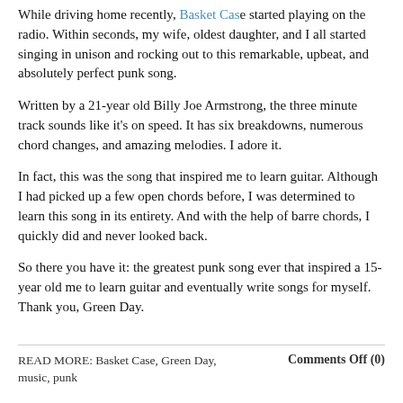While driving home recently, Basket Case started playing on the radio. Within seconds, my wife, oldest daughter, and I all started singing in unison and rocking out to this remarkable, upbeat, and absolutely perfect punk song.
Written by a 21-year old Billy Joe Armstrong, the three minute track sounds like it's on speed. It has six breakdowns, numerous chord changes, and amazing melodies. I adore it.
In fact, this was the song that inspired me to learn guitar. Although I had picked up a few open chords before, I was determined to learn this song in its entirety. And with the help of barre chords, I quickly did and never looked back.
So there you have it: the greatest punk song ever that inspired a 15-year old me to learn guitar and eventually write songs for myself. Thank you, Green Day.
READ MORE: Basket Case, Green Day, music, punk    Comments Off (0)